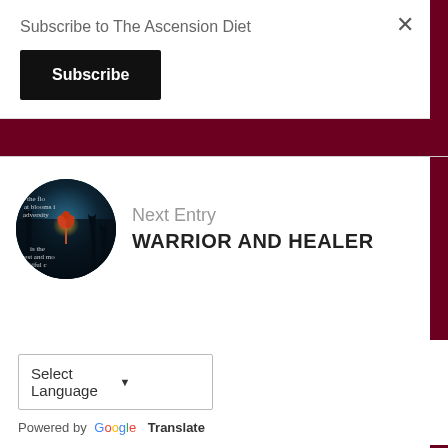Subscribe to The Ascension Diet
×
Subscribe
Next Entry
WARRIOR AND HEALER
[Figure (photo): Circular thumbnail showing a glowing flower over dark mystical background with text fragments visible]
Select Language
Powered by Google Translate